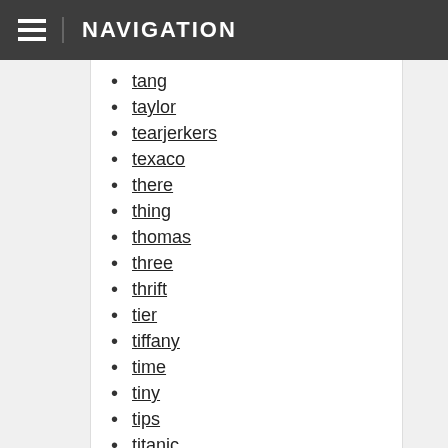NAVIGATION
tang
taylor
tearjerkers
texaco
there
thing
thomas
three
thrift
tier
tiffany
time
tiny
tips
titanic
toplands
tour